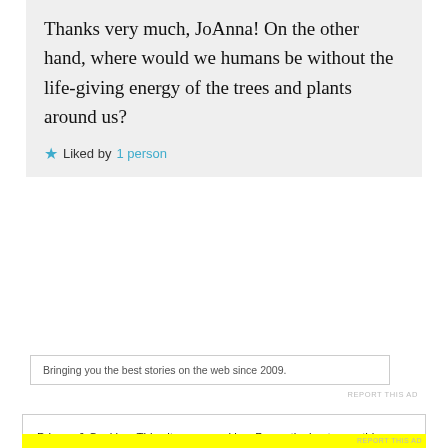Thanks very much, JoAnna! On the other hand, where would we humans be without the life-giving energy of the trees and plants around us?
★ Liked by 1 person
Bringing you the best stories on the web since 2009.
REPORT THIS AD
Privacy & Cookies: This site uses cookies. By continuing to use this website, you agree to their use.
To find out more, including how to control cookies, see here: Cookie Policy
Close and accept